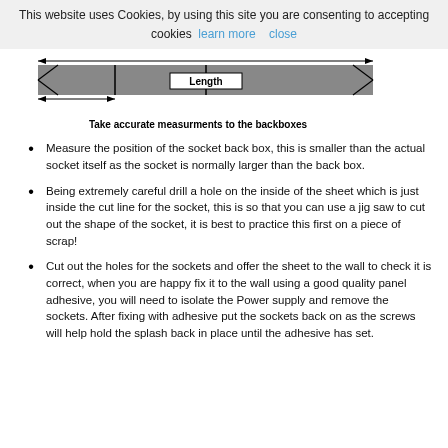This website uses Cookies, by using this site you are consenting to accepting cookies  learn more  close
[Figure (engineering-diagram): Horizontal rectangular bar (grey) with arrows indicating the total length, labeled 'Length' in the center.]
Take accurate measurments to the backboxes
Measure the position of the socket back box, this is smaller than the actual socket itself as the socket is normally larger than the back box.
Being extremely careful drill a hole on the inside of the sheet which is just inside the cut line for the socket, this is so that you can use a jig saw to cut out the shape of the socket, it is best to practice this first on a piece of scrap!
Cut out the holes for the sockets and offer the sheet to the wall to check it is correct, when you are happy fix it to the wall using a good quality panel adhesive, you will need to isolate the Power supply and remove the sockets. After fixing with adhesive put the sockets back on as the screws will help hold the splash back in place until the adhesive has set.